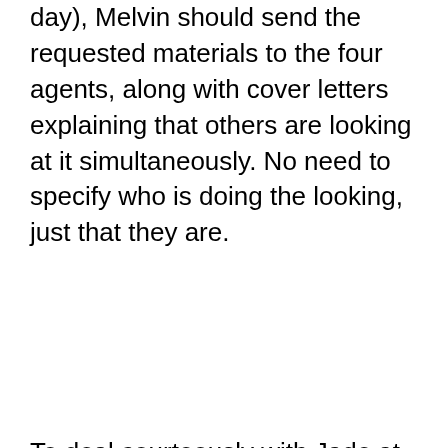day), Melvin should send the requested materials to the four agents, along with cover letters explaining that others are looking at it simultaneously. No need to specify who is doing the looking, just that they are.
To deal courteously with Jade at this point, he should send a letter, saying that while she is still his first choice (the implication of an exclusive, always), since the exclusive has now expired, he is now sending out requested materials to other agents. As, indeed, he had already given her notice that he might do if she didn't get back to him. If